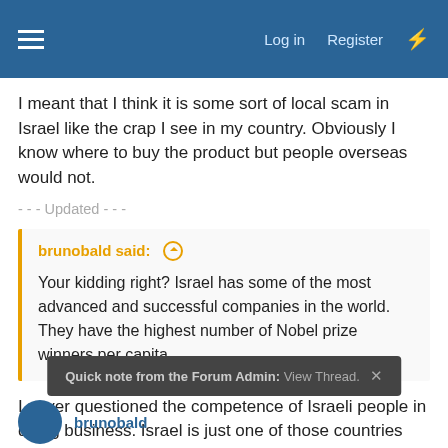Log in  Register
I meant that I think it is some sort of local scam in Israel like the crap I see in my country. Obviously I know where to buy the product but people overseas would not.
- - - Updated - - -
brunobald said:  Your kidding right? Israel has some of the most advanced and successful companies in the world. They have the highest number of Nobel prize winners per capita.
I never questioned the competence of Israeli people in doing business. Israel is just one of those countries notorious for their online frauds, I was merely suggesting that this is one of them.
Quick note from the Forum Admin:  View Thread.
brunobald